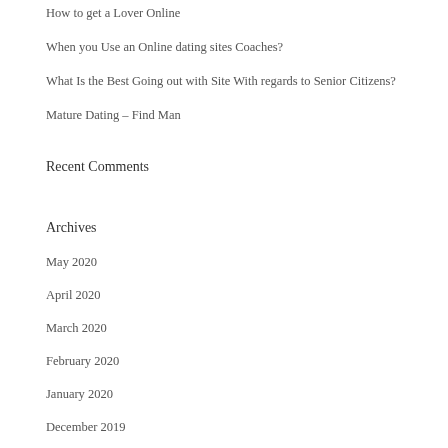How to get a Lover Online
When you Use an Online dating sites Coaches?
What Is the Best Going out with Site With regards to Senior Citizens?
Mature Dating – Find Man
Recent Comments
Archives
May 2020
April 2020
March 2020
February 2020
January 2020
December 2019